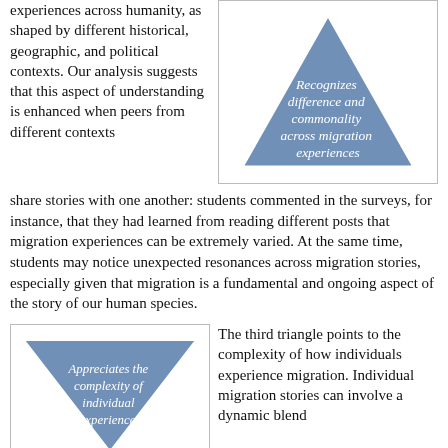experiences across humanity, as shaped by different historical, geographic, and political contexts. Our analysis suggests that this aspect of understanding is enhanced when peers from different contexts
[Figure (illustration): Triangle pointing upward with blue fill, white border, containing white text: 'Recognizes difference and commonality across migration experiences']
share stories with one another: students commented in the surveys, for instance, that they had learned from reading different posts that migration experiences can be extremely varied. At the same time, students may notice unexpected resonances across migration stories, especially given that migration is a fundamental and ongoing aspect of the story of our human species.
[Figure (illustration): Inverted triangle pointing downward with blue fill, white border, containing white text: 'Appreciates the complexity of individual experiences']
The third triangle points to the complexity of how individuals experience migration. Individual migration stories can involve a dynamic blend